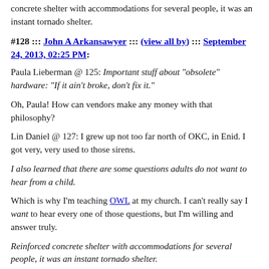concrete shelter with accommodations for several people, it was an instant tornado shelter.
#128 ::: John A Arkansawyer ::: (view all by) ::: September 24, 2013, 02:25 PM:
Paula Lieberman @ 125: Important stuff about "obsolete" hardware: "If it ain't broke, don't fix it."
Oh, Paula! How can vendors make any money with that philosophy?
Lin Daniel @ 127: I grew up not too far north of OKC, in Enid. I got very, very used to those sirens.
I also learned that there are some questions adults do not want to hear from a child.
Which is why I'm teaching OWL at my church. I can't really say I want to hear every one of those questions, but I'm willing and answer truly.
Reinforced concrete shelter with accommodations for several people, it was an instant tornado shelter.
When we had our big flood in Enid, bar be our avar nnfbnvgvrf inf